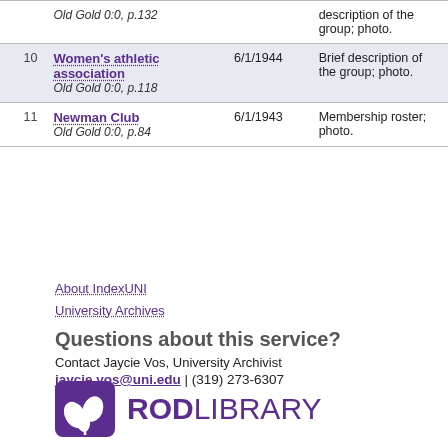| # | Title / Source | Date | Description |
| --- | --- | --- | --- |
|  | Old Gold 0:0, p.132 |  | description of the group; photo. |
| 10 | Women's athletic association
Old Gold 0:0, p.118 | 6/1/1944 | Brief description of the group; photo. |
| 11 | Newman Club
Old Gold 0:0, p.84 | 6/1/1943 | Membership roster; photo. |
About IndexUNI
University Archives
Questions about this service?
Contact Jaycie Vos, University Archivist
jaycie.vos@uni.edu | (319) 273-6307
[Figure (logo): Rod Library logo with purple leaf/plant icon and text ROD LIBRARY]